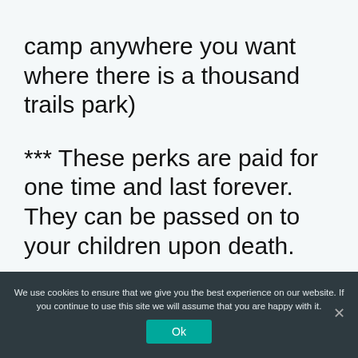camp anywhere you want where there is a thousand trails park)
*** These perks are paid for one time and last forever. They can be passed on to your children upon death.
We use cookies to ensure that we give you the best experience on our website. If you continue to use this site we will assume that you are happy with it.